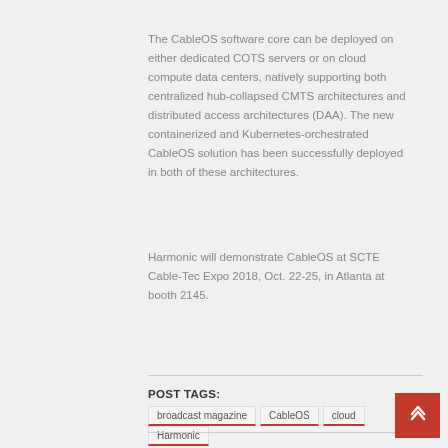The CableOS software core can be deployed on either dedicated COTS servers or on cloud compute data centers, natively supporting both centralized hub-collapsed CMTS architectures and distributed access architectures (DAA). The new containerized and Kubernetes-orchestrated CableOS solution has been successfully deployed in both of these architectures.
Harmonic will demonstrate CableOS at SCTE Cable-Tec Expo 2018, Oct. 22-25, in Atlanta at booth 2145.
POST TAGS:
broadcast magazine
CableOS
cloud
Harmonic